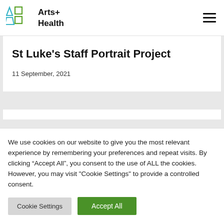[Figure (logo): Arts+ Health logo with teal triangle and green square icons alongside bold text reading Arts+ Health]
St Luke’s Staff Portrait Project
11 September, 2021
We use cookies on our website to give you the most relevant experience by remembering your preferences and repeat visits. By clicking “Accept All”, you consent to the use of ALL the cookies. However, you may visit "Cookie Settings" to provide a controlled consent.